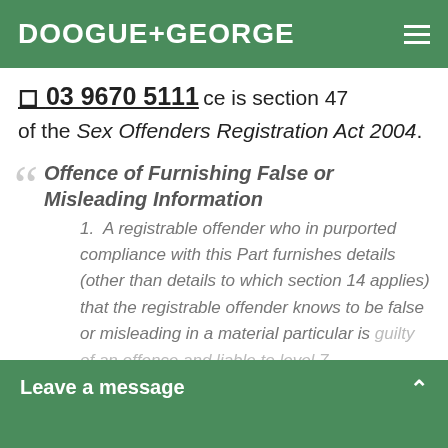DOOGUE+GEORGE
03 9670 5111  …ce is section 47 of the Sex Offenders Registration Act 2004.
Offence of Furnishing False or Misleading Information
1. A registrable offender who in purported compliance with this Part furnishes details (other than details to which section 14 applies) that the registrable offender knows to be false or misleading in a material particular is guilty of an offence and liable to level 7…
Leave a message